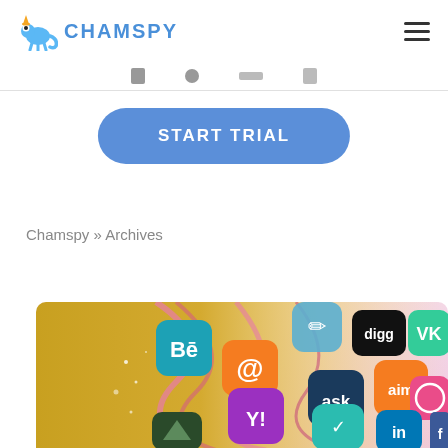CHAMSPY
[Figure (screenshot): Navigation icons bar with social/app icons partially visible]
[Figure (screenshot): Blue rounded rectangle button labeled START TRIAL]
Chamspy » Archives
[Figure (photo): Collage of social media app icons including Behance, email (@), Yahoo, Ask, AIM, Digg, VK, Evernote, LinkedIn, Dribbble on a gold and pink swirl background]